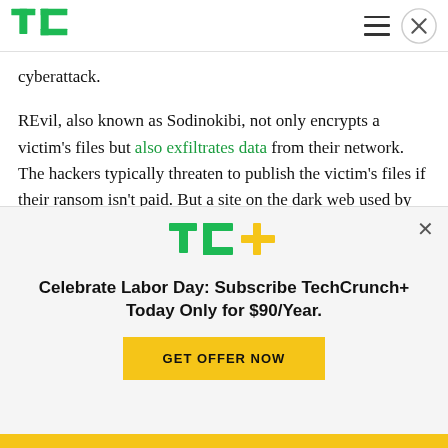TechCrunch logo and navigation
cyberattack.
REvil, also known as Sodinokibi, not only encrypts a victim's files but also exfiltrates data from their network. The hackers typically threaten to publish the victim's files if their ransom isn't paid. But a site on the dark web used by REvil to publicize stolen data appeared offline at the time of writing.
[Figure (logo): TC+ TechCrunch Plus logo in green and yellow]
Celebrate Labor Day: Subscribe TechCrunch+ Today Only for $90/Year.
GET OFFER NOW